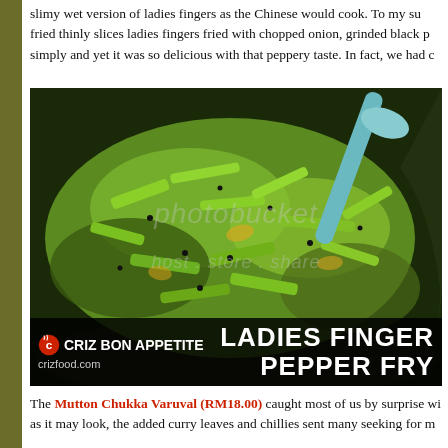slimy wet version of ladies fingers as the Chinese would cook. To my su fried thinly slices ladies fingers fried with chopped onion, grinded black p simply and yet it was so delicious with that peppery taste. In fact, we had c
[Figure (photo): Close-up photo of Ladies Finger Pepper Fry dish in a wok/pan with a spoon. Thinly sliced okra/ladies fingers stir-fried with black pepper and onions, bright green color. Watermark from photobucket visible. Bottom overlay bar shows CRIZ BON APPETITE logo with crizfood.com and text LADIES FINGER PEPPER FRY.]
The Mutton Chukka Varuval (RM18.00) caught most of us by surprise wi as it may look, the added curry leaves and chillies sent many seeking for m